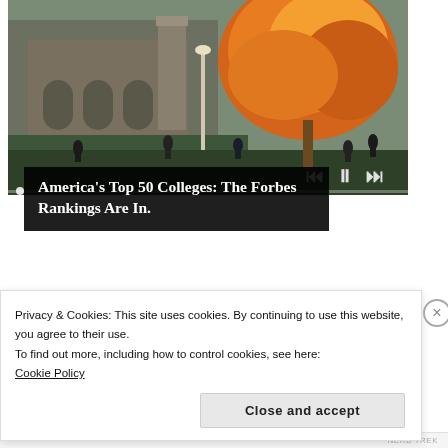[Figure (photo): University campus photo showing a gothic stone building with arched entryways and students walking on paths. A large autumn tree with orange and red foliage is visible in the right portion. Media playback controls (skip back, pause, skip forward) are shown in the lower right corner of the image, with a progress bar at the bottom.]
America's Top 50 Colleges: The Forbes Rankings Are In.
sponsored by
Privacy & Cookies: This site uses cookies. By continuing to use this website, you agree to their use.
To find out more, including how to control cookies, see here: Cookie Policy
Close and accept